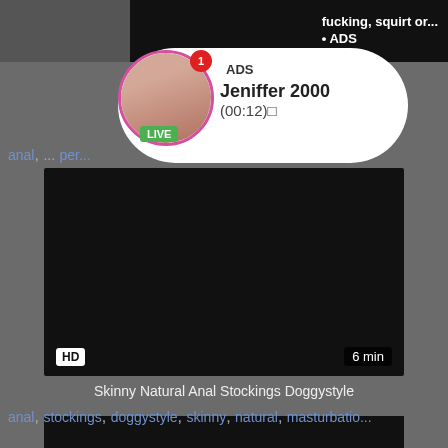[Figure (screenshot): Adult video website screenshot showing a video thumbnail, ad overlay with profile named 'Jeniffer 2000', LIVE badge, HD badge, 6 min duration, and tag links]
fucking, squirt or...
• ADS
ADS
Jeniffer 2000
(00:12)
anal, ... per...
HD
6 min
Skinny Natural Anal Stockings Doggystyle
anal, stockings, doggystyle, skinny, natural, masturbatio...